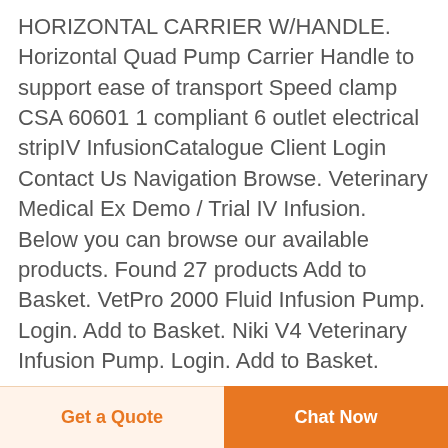HORIZONTAL CARRIER W/HANDLE. Horizontal Quad Pump Carrier Handle to support ease of transport Speed clamp CSA 60601 1 compliant 6 outlet electrical stripIV InfusionCatalogue Client Login Contact Us Navigation Browse. Veterinary Medical Ex Demo / Trial IV Infusion. Below you can browse our available products. Found 27 products Add to Basket. VetPro 2000 Fluid Infusion Pump. Login. Add to Basket. Niki V4 Veterinary Infusion Pump. Login. Add to Basket.
Get a Quote  Chat Now